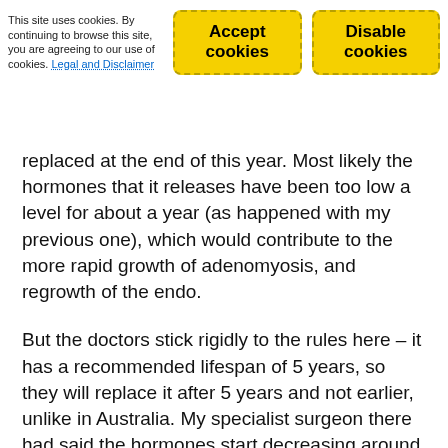This site uses cookies. By continuing to browse this site, you are agreeing to our use of cookies. Legal and Disclaimer [Accept cookies] [Disable cookies]
replaced at the end of this year. Most likely the hormones that it releases have been too low a level for about a year (as happened with my previous one), which would contribute to the more rapid growth of adenomyosis, and regrowth of the endo.
But the doctors stick rigidly to the rules here – it has a recommended lifespan of 5 years, so they will replace it after 5 years and not earlier, unlike in Australia. My specialist surgeon there had said the hormones start decreasing around the 4 year mark.
I've convinced them to put me under for a short time while they remove the old and insert the new. They wanted to do this without any pain killers, let alone a